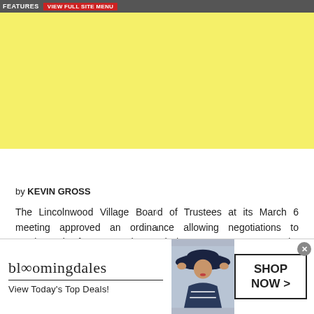FEATURES | VIEW FULL SITE MENU
[Figure (other): Yellow advertisement placeholder block]
by KEVIN GROSS
The Lincolnwood Village Board of Trustees at its March 6 meeting approved an ordinance allowing negotiations to purchase the former Purple Hotel site at 4500-4560 W. Touhy Ave. and 7350 N.
[Figure (other): Bloomingdale's advertisement banner with woman in wide-brimmed hat, logo, tagline 'View Today's Top Deals!' and 'SHOP NOW >' button]